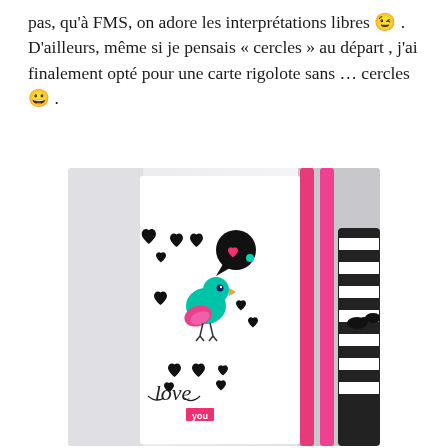pas, qu'à FMS, on adore les interprétations libres 😉 . D'ailleurs, même si je pensais « cercles » au départ , j'ai finalement opté pour une carte rigolote sans … cercles 😀 .
[Figure (photo): A photograph of a handmade card on a white surface. The card features multiple black heart shapes arranged around a colorful teal bird illustration. The bird has pink wing accents. Above the bird is a black speech bubble with a pink heart and teal dot. At the bottom of the card is the cursive text 'love' with a pink label reading 'you'. Background includes pink pens and a black and white striped container.]